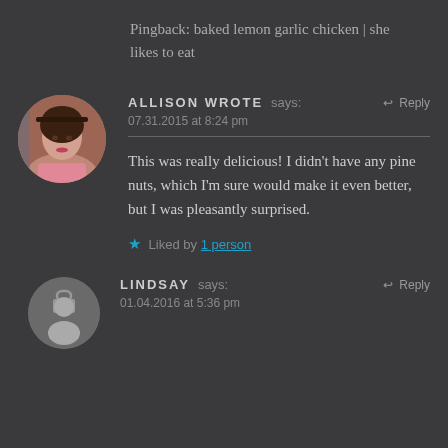Pingback: baked lemon garlic chicken | she likes to eat
ALLISON WROTE says:
07.31.2015 at 8:24 pm
This was really delicious! I didn't have any pine nuts, which I'm sure would make it even better, but I was pleasantly surprised.
Liked by 1 person
LINDSAY says:
01.04.2016 at 5:36 pm